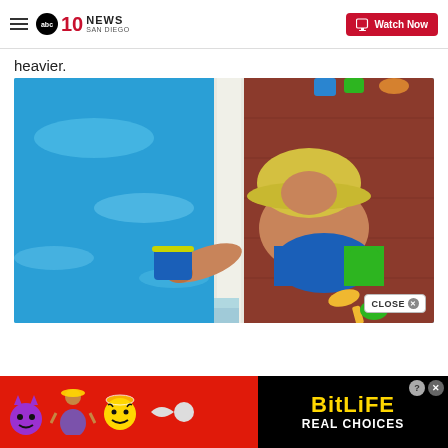10 News San Diego — Watch Now
heavier.
[Figure (photo): A young child wearing a yellow bucket hat and blue-green swim trunks, crouching at the edge of a swimming pool, playing with a blue bucket in the water. Green toys visible on the pool deck. Blue mosaic tile pool edge visible.]
[Figure (infographic): BitLife mobile game advertisement banner with emoji characters (devil, angel person, angel face, sperm), BitLife logo in gold on black background, and text 'REAL CHOICES' on red background.]